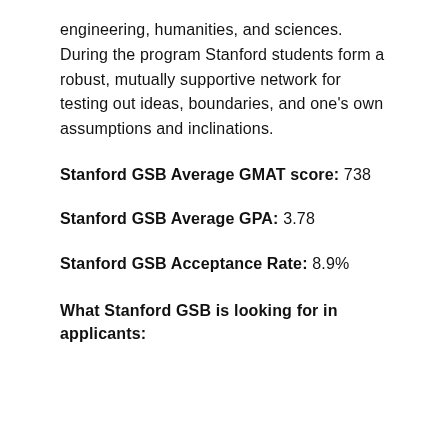engineering, humanities, and sciences. During the program Stanford students form a robust, mutually supportive network for testing out ideas, boundaries, and one's own assumptions and inclinations.
Stanford GSB Average GMAT score: 738
Stanford GSB Average GPA: 3.78
Stanford GSB Acceptance Rate: 8.9%
What Stanford GSB is looking for in applicants: